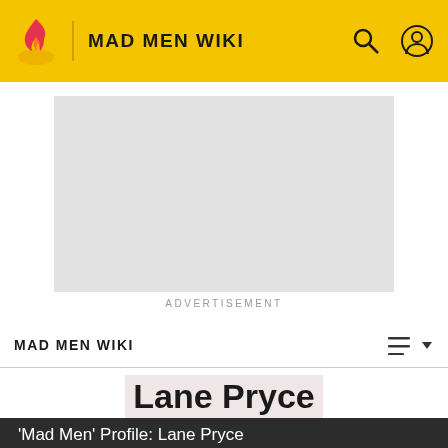MAD MEN WIKI
[Figure (screenshot): Advertisement placeholder (gray rectangle)]
ADVERTISEMENT
MAD MEN WIKI
Lane Pryce
[Figure (photo): Dark screenshot from Mad Men showing a man in glasses and suit, captioned 'Mad Men' Profile: Lane Pryce]